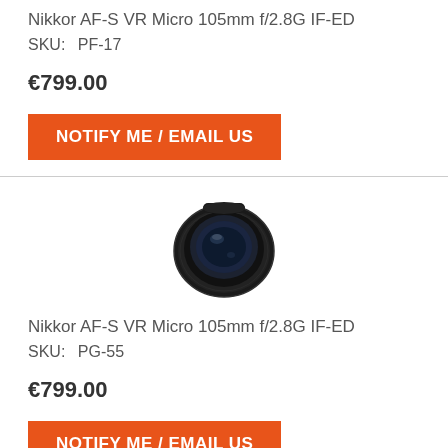Nikkor AF-S VR Micro 105mm f/2.8G IF-ED
SKU:  PF-17
€799.00
NOTIFY ME / EMAIL US
[Figure (photo): Black Nikkor AF-S VR Micro 105mm lens viewed from front angle]
Nikkor AF-S VR Micro 105mm f/2.8G IF-ED
SKU:  PG-55
€799.00
NOTIFY ME / EMAIL US
[Figure (photo): Black Nikkor AF-S VR Micro 105mm lens, partially visible at bottom of page]